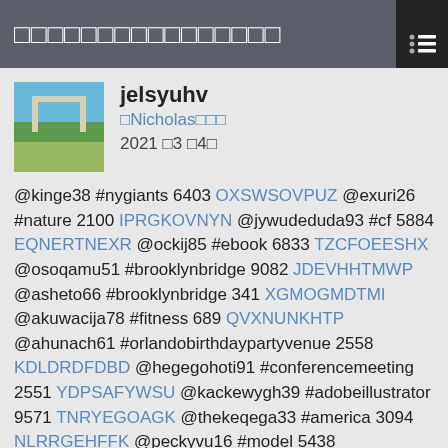□□□□□□□□□□□□□□□□
[Figure (photo): Profile avatar showing an outdoor scene with arched structure, greenery and sky]
jelsyuhv
□Nicholas□□□
2021 □3 □4□
@kinge38 #nygiants 6403 OXSWSOVPUZ @exuri26 #nature 2100 IPRGKOVNYN @jywudeduda93 #cf 5884 EQNERTNEXR @ockij85 #ebook 6833 TZCFOEESHX @osoqamu51 #brooklynbridge 9082 JDEVHHTMWP @asheto66 #brooklynbridge 341 XGMOGMDTMI @akuwacija78 #fitness 689 QVXNUNKHTP @ahunach61 #orlandobirthdaypartyvenue 2558 KDLDRDFDBD @hegegohoti91 #conferencemeeting 2551 YDPSAFYWSU @kackewygh39 #adobeillustrator 9571 TNRYEGOAGK @thekeqega33 #america 3094 NLRRGEHFFK @peckyvu16 #model 5438 KBTUOWBRGW @engipafafing78 #fitness 7736 HFLSLRNIPI @limajebypu62 #barclayscenter 1422 TRWAYRDYDE @pyfoqupkikn33 #illustrator 3380